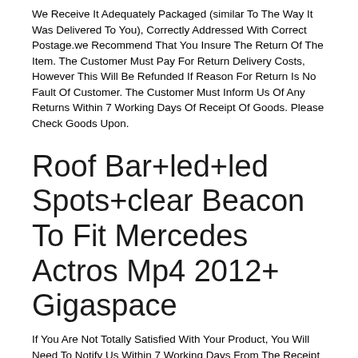We Receive It Adequately Packaged (similar To The Way It Was Delivered To You), Correctly Addressed With Correct Postage.we Recommend That You Insure The Return Of The Item. The Customer Must Pay For Return Delivery Costs, However This Will Be Refunded If Reason For Return Is No Fault Of Customer. The Customer Must Inform Us Of Any Returns Within 7 Working Days Of Receipt Of Goods. Please Check Goods Upon.
Roof Bar+led+led Spots+clear Beacon To Fit Mercedes Actros Mp4 2012+ Gigaspace
If You Are Not Totally Satisfied With Your Product, You Will Need To Notify Us Within 7 Working Days From The Receipt Of Your Order. You Will Then Need To Return It To Us For A Full Refund. The Product Has To Be In A Re-saleable Condition. You Will Be Liable For The Cost Of Replacement Or Repair Of Any Goods Returned Scratched Or Damaged. If You Are Returning An Item, You Must Ensure That We Receive It Adequately Packaged (similar To The Way It Was Delivered To You), Correctly Addressed With Correct Postage.we Recommend That You